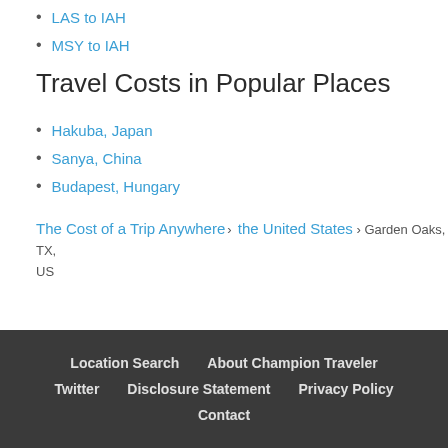LAS to IAH
MSY to IAH
Travel Costs in Popular Places
Hakuba, Japan
Sanya, China
Budapest, Hungary
The Cost of a Trip Anywhere › the United States › Garden Oaks, TX, US
Location Search   About Champion Traveler   Twitter   Disclosure Statement   Privacy Policy   Contact